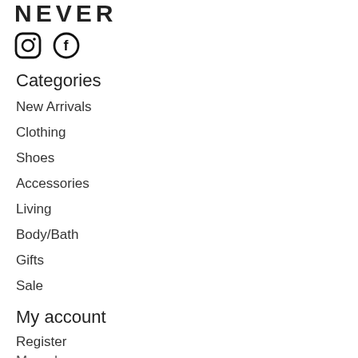NEVER
[Figure (illustration): Instagram and Facebook social media icons]
Categories
New Arrivals
Clothing
Shoes
Accessories
Living
Body/Bath
Gifts
Sale
My account
Register
My order